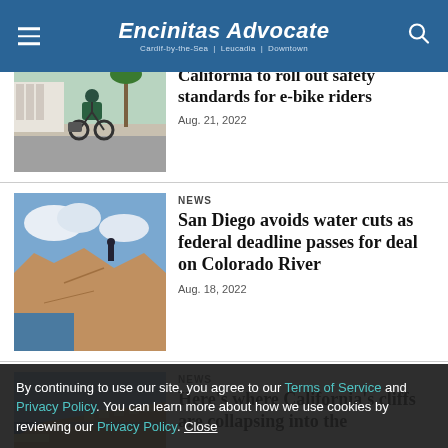Encinitas Advocate
[Figure (photo): Person riding an e-bike on a street with palm trees]
California to roll out safety standards for e-bike riders
Aug. 21, 2022
[Figure (photo): Person standing on rocky coastal cliffs overlooking the ocean]
NEWS
San Diego avoids water cuts as federal deadline passes for deal on Colorado River
Aug. 18, 2022
[Figure (photo): Aerial view of California coastal cliffs and beach]
NEWS
Here's where California's cliffs are collapsing into the
Aug. 18, 2022
By continuing to use our site, you agree to our Terms of Service and Privacy Policy. You can learn more about how we use cookies by reviewing our Privacy Policy. Close